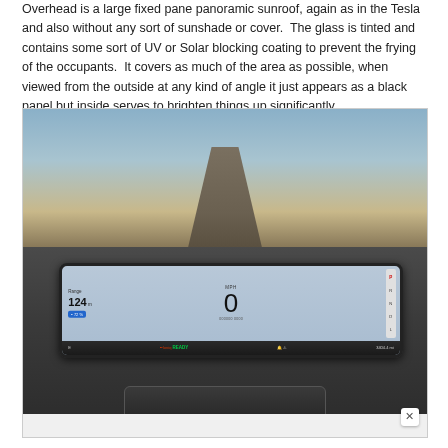Overhead is a large fixed pane panoramic sunroof, again as in the Tesla and also without any sort of sunshade or cover.  The glass is tinted and contains some sort of UV or Solar blocking coating to prevent the frying of the occupants.  It covers as much of the area as possible, when viewed from the outside at any kind of angle it just appears as a black panel but inside serves to brighten things up significantly.
[Figure (photo): Interior dashboard view of an electric vehicle showing the instrument cluster screen displaying: Range 124 mi, 72% battery, speed 0 MPH, gear selector showing P (Park) selected in red, odometer 3404.4 mi, and READY status. The panoramic sunroof and road ahead are visible through the windshield above the dashboard.]